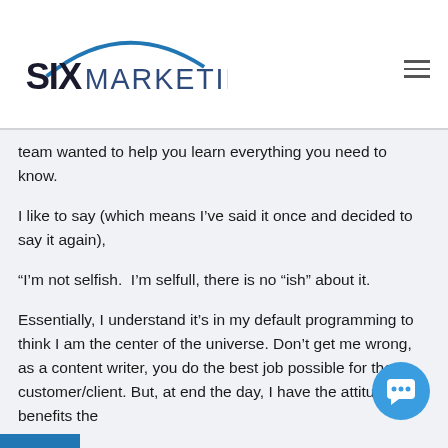[Figure (logo): Six Marketing logo with blue arc over text and hamburger menu icon in top right]
team wanted to help you learn everything you need to know.
I like to say (which means I've said it once and decided to say it again),
“I’m not selfish.  I’m selfull, there is no “ish” about it.
Essentially, I understand it’s in my default programming to think I am the center of the universe. Don’t get me wrong, as a content writer, you do the best job possible for the customer/client. But, at end the day, I have the attitude if it benefits the